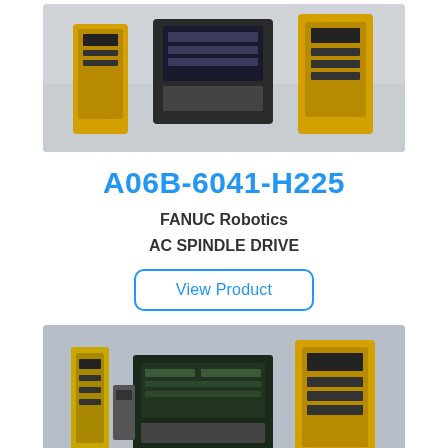[Figure (photo): Photo of FANUC Robotics AC Spindle Drive unit A06B-6041-H225, showing yellow and dark industrial drive components]
A06B-6041-H225
FANUC Robotics
AC SPINDLE DRIVE
View Product
[Figure (photo): Photo of FANUC Robotics components including circuit boards and yellow drive enclosure, product A06B-6044-H108]
A06B-6044-H108